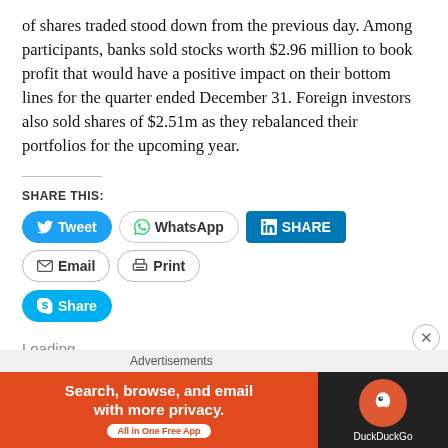of shares traded stood down from the previous day. Among participants, banks sold stocks worth $2.96 million to book profit that would have a positive impact on their bottom lines for the quarter ended December 31. Foreign investors also sold shares of $2.51m as they rebalanced their portfolios for the upcoming year.
SHARE THIS:
[Figure (infographic): Social share buttons: Tweet (Twitter/blue), WhatsApp, SHARE (LinkedIn/blue), Email, Print, Share (Skype/blue)]
Loading...
[Figure (infographic): DuckDuckGo advertisement banner: 'Search, browse, and email with more privacy. All in One Free App' with DuckDuckGo logo on dark background]